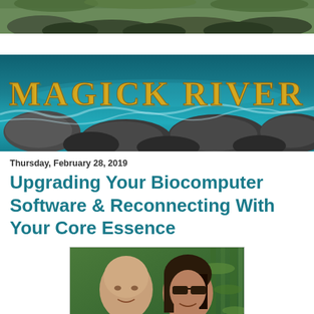[Figure (photo): Top forest/nature background banner strip with green foliage and rocks]
[Figure (photo): Magick River banner with flowing river, rocks, and golden text reading MAGICK RIVER on teal water background]
Thursday, February 28, 2019
Upgrading Your Biocomputer Software & Reconnecting With Your Core Essence
[Figure (photo): Photo of two people (a bald man on the left and a person with long hair and sunglasses on the right) smiling outdoors with green bamboo/foliage in the background]